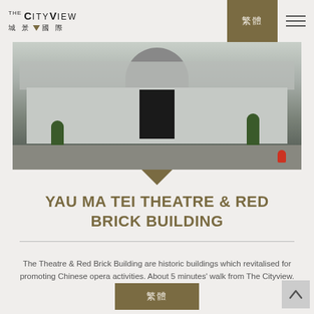THE CITYVIEW 城景國際
[Figure (photo): Exterior photo of Yau Ma Tei Theatre, a historic building with arched entrance, white canopy structure, dark doors, ornamental trees, and a red fire hydrant on the street.]
YAU MA TEI THEATRE & RED BRICK BUILDING
The Theatre & Red Brick Building are historic buildings which revitalised for promoting Chinese opera activities. About 5 minutes' walk from The Cityview.